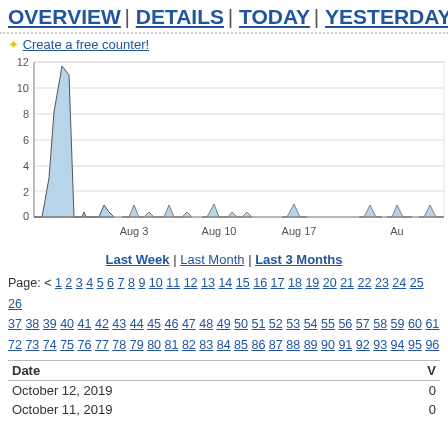OVERVIEW | DETAILS | TODAY | YESTERDAY |
✦ Create a free counter!
[Figure (area-chart): Area chart showing visit spikes around late July/early August (~10-11 peak), then small recurring spikes of ~1 around Aug 3, Aug 10, Aug 17, Aug 24+. Y-axis 0-12. X-axis shows Aug 3, Aug 10, Aug 17, Aug 24.]
Last Week | Last Month | Last 3 Months
Page: < 1 2 3 4 5 6 7 8 9 10 11 12 13 14 15 16 17 18 19 20 21 22 23 24 25 26 37 38 39 40 41 42 43 44 45 46 47 48 49 50 51 52 53 54 55 56 57 58 59 60 61 72 73 74 75 76 77 78 79 80 81 82 83 84 85 86 87 88 89 90 91 92 93 94 95 96
| Date | V |
| --- | --- |
| October 12, 2019 | 0 |
| October 11, 2019 | 0 |